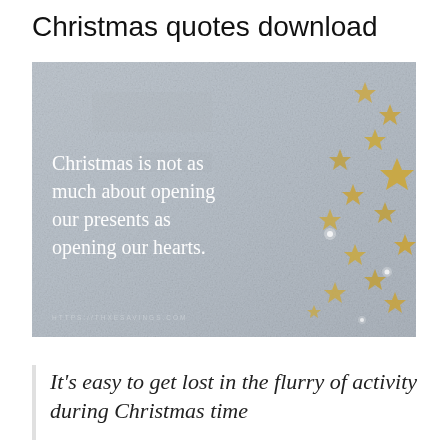Christmas quotes download
[Figure (photo): A Christmas quote image with a grey textured background and gold star decorations on the right side. White text reads: 'Christmas is not as much about opening our presents as opening our hearts.' Small watermark text at bottom: 'HTTPS://THXESAVINGS.COM']
It's easy to get lost in the flurry of activity during Christmas time